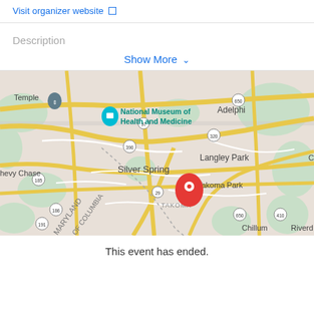Visit organizer website ☐
Description
Show More ∨
[Figure (map): Google Maps showing the Silver Spring / Takoma Park area in Maryland. Locations visible include National Museum of Health and Medicine, Adelphi, Langley Park, Chevy Chase, Silver Spring, Takoma Park (TAKOMA), Chillum, Temple, College (Park). Road numbers: 650, 97, 390, 185, 320, 29, 410, 186, 191. A red map pin marker is placed near Takoma Park / Silver Spring intersection.]
This event has ended.